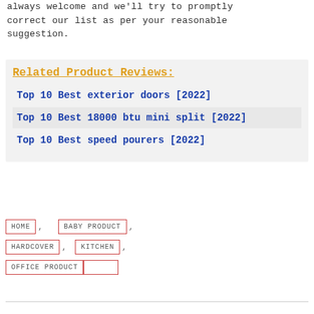always welcome and we'll try to promptly correct our list as per your reasonable suggestion.
Related Product Reviews:
Top 10 Best exterior doors [2022]
Top 10 Best 18000 btu mini split [2022]
Top 10 Best speed pourers [2022]
HOME
BABY PRODUCT
HARDCOVER
KITCHEN
OFFICE PRODUCT